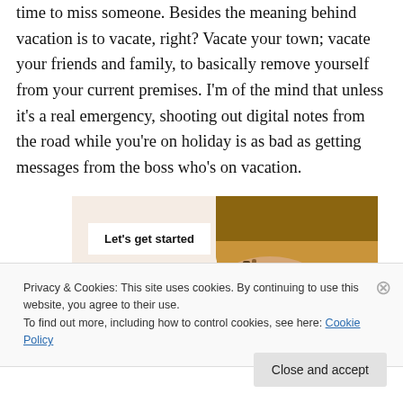time to miss someone. Besides the meaning behind vacation is to vacate, right? Vacate your town; vacate your friends and family, to basically remove yourself from your current premises. I'm of the mind that unless it's a real emergency, shooting out digital notes from the road while you're on holiday is as bad as getting messages from the boss who's on vacation.
[Figure (photo): Promotional banner with 'Let's get started' button and a photo of a person's hands holding a phone/tablet, wearing bracelets, warm orange/brown tones]
Privacy & Cookies: This site uses cookies. By continuing to use this website, you agree to their use.
To find out more, including how to control cookies, see here: Cookie Policy
Close and accept